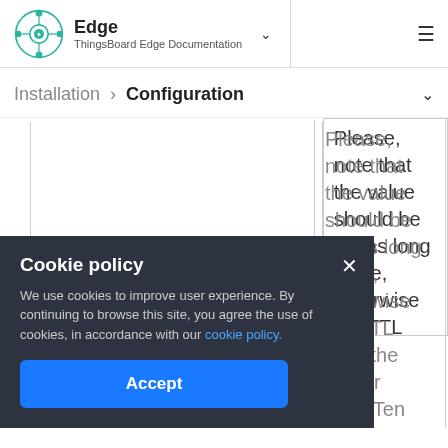Edge ThingsBoard Edge Documentation
Installation > Configuration
Please, note that the value should be set as long value, otherwise the TTL from the higher level(Tenant or System)
Cookie policy
We use cookies to improve user experience. By continuing to browse this site, you agree the use of cookies, in accordance with our cookie policy.
Accept